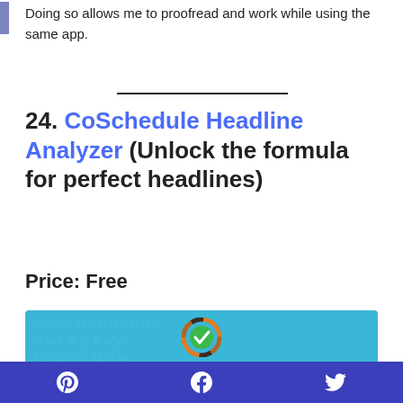Doing so allows me to proofread and work while using the same app.
24. CoSchedcule Headline Analyzer (Unlock the formula for perfect headlines)
Price: Free
[Figure (screenshot): Screenshot of CoSchedule Headline Analyzer showing a circular multicolor icon with a green checkmark and the text 'The #1 Free Headline Analyzer' on a blue background]
Pinterest | Facebook | Twitter social share icons